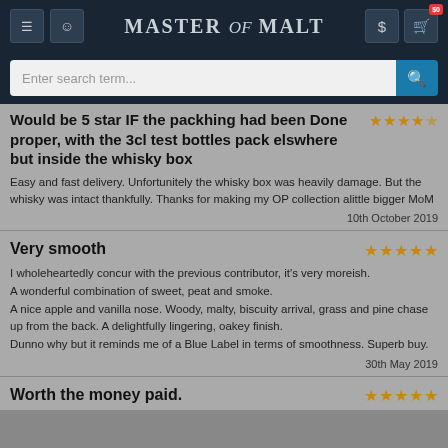Master of Malt
Enter search term...
Would be 5 star IF the packhing had been Done proper, with the 3cl test bottles pack elswhere but inside the whisky box
Easy and fast delivery. Unfortunitely the whisky box was heavily damage. But the whisky was intact thankfully. Thanks for making my OP collection alittle bigger MoM
10th October 2019
Very smooth
I wholeheartedly concur with the previous contributor, it's very moreish.
A wonderful combination of sweet, peat and smoke.
A nice apple and vanilla nose. Woody, malty, biscuity arrival, grass and pine chase up from the back. A delightfully lingering, oakey finish.
Dunno why but it reminds me of a Blue Label in terms of smoothness. Superb buy.
30th May 2019
Worth the money paid.